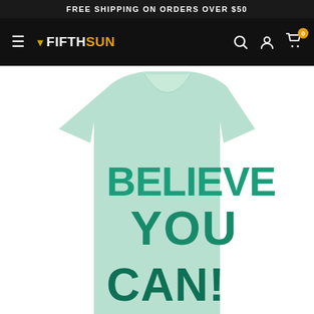FREE SHIPPING ON ORDERS OVER $50
[Figure (logo): Fifth Sun navigation bar with hamburger menu, Fifth Sun logo, search icon, account icon, and cart icon with badge showing 0]
[Figure (photo): Light mint green t-shirt with bold teal text reading BELIEVE YOU CAN! in large block letters, displayed on a white background]